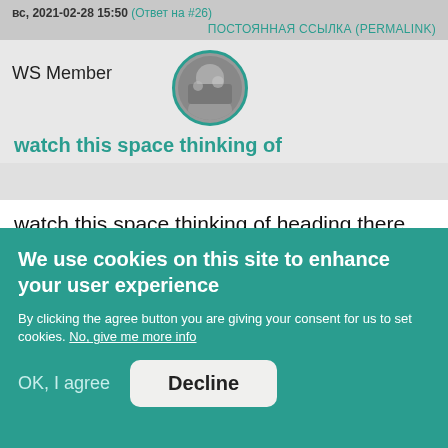вс, 2021-02-28 15:50 (Ответ на #26)
ПОСТОЯННАЯ ССЫЛКА (PERMALINK)
WS Member
[Figure (photo): Round avatar photo of a person, framed with teal/green circular border]
watch this space thinking of
watch this space thinking of heading there on a solo trip. I hope get to host first through so i return all the hospiltality
We use cookies on this site to enhance your user experience
By clicking the agree button you are giving your consent for us to set cookies. No, give me more info
OK, I agree
Decline